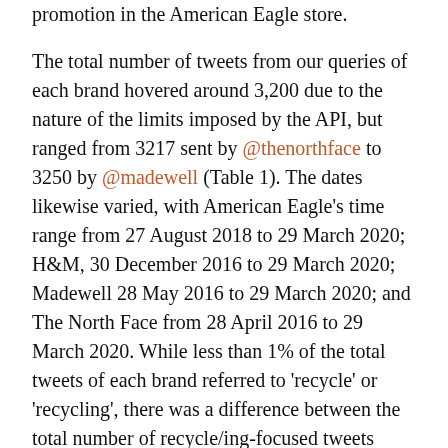promotion in the American Eagle store.

The total number of tweets from our queries of each brand hovered around 3,200 due to the nature of the limits imposed by the API, but ranged from 3217 sent by @thenorthface to 3250 by @madewell (Table 1). The dates likewise varied, with American Eagle's time range from 27 August 2018 to 29 March 2020; H&M, 30 December 2016 to 29 March 2020; Madewell 28 May 2016 to 29 March 2020; and The North Face from 28 April 2016 to 29 March 2020. While less than 1% of the total tweets of each brand referred to 'recycle' or 'recycling', there was a difference between the total number of recycle/ing-focused tweets between brands, with six at the lowest for @ae to 55 at the highest from @madewell, which is considerable especially when one takes into account the timeframe within which these tweets